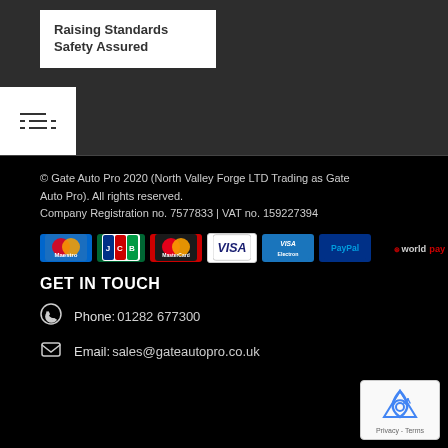[Figure (logo): Raising Standards Safety Assured logo box (white box on dark background)]
[Figure (other): Hamburger/filter menu icon (white box with three horizontal lines)]
© Gate Auto Pro 2020 (North Valley Forge LTD Trading as Gate Auto Pro). All rights reserved. Company Registration no. 7577833 | VAT no. 159227394
[Figure (other): Payment method badges: Maestro, JCB, MasterCard, VISA, VISA Electron, PayPal, Worldpay]
GET IN TOUCH
Phone: 01282 677300
Email: sales@gateautopro.co.uk
[Figure (other): reCAPTCHA Privacy - Terms badge]